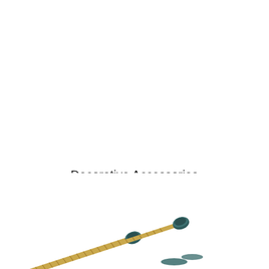Decorative Accessories
[Figure (photo): Two gold/brass decorative screws with dark caps, photographed diagonally across the bottom of the page, showing threaded shafts and decorative mushroom-head caps]